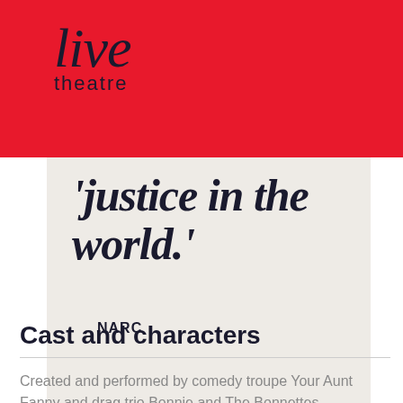[Figure (logo): Live Theatre logo - stylized italic 'live' text with 'theatre' below, white/dark text on red background]
'justice in the world.'
NARC
Cast and characters
Created and performed by comedy troupe Your Aunt Fanny and drag trio Bonnie and The Bonnettes.